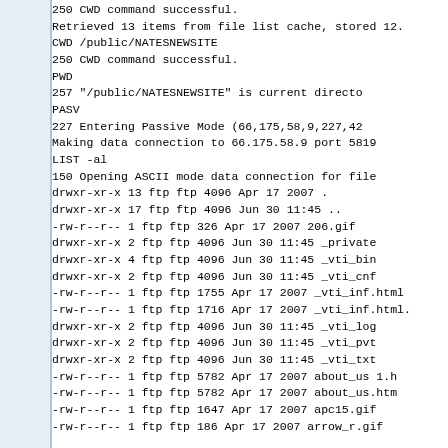250 CWD command successful.
Retrieved 13 items from file list cache, stored 12.
CWD /public/NATESNEWSITE
250 CWD command successful.
PWD
257 "/public/NATESNEWSITE" is current directory.
PASV
227 Entering Passive Mode (66,175,58,9,227,42
Making data connection to 66.175.58.9 port 5819
LIST -al
150 Opening ASCII mode data connection for file
drwxr-xr-x 13 ftp ftp 4096 Apr 17 2007 .
drwxr-xr-x 17 ftp ftp 4096 Jun 30 11:45 ..
-rw-r--r-- 1 ftp ftp 326 Apr 17 2007 206.gif
drwxr-xr-x 2 ftp ftp 4096 Jun 30 11:45 _private
drwxr-xr-x 4 ftp ftp 4096 Jun 30 11:45 _vti_bin
drwxr-xr-x 2 ftp ftp 4096 Jun 30 11:45 _vti_cnf
-rw-r--r-- 1 ftp ftp 1755 Apr 17 2007 _vti_inf.html
-rw-r--r-- 1 ftp ftp 1716 Apr 17 2007 _vti_inf.html.
drwxr-xr-x 2 ftp ftp 4096 Jun 30 11:45 _vti_log
drwxr-xr-x 2 ftp ftp 4096 Jun 30 11:45 _vti_pvt
drwxr-xr-x 2 ftp ftp 4096 Jun 30 11:45 _vti_txt
-rw-r--r-- 1 ftp ftp 5782 Apr 17 2007 about_us 1.h
-rw-r--r-- 1 ftp ftp 5782 Apr 17 2007 about_us.htm
-rw-r--r-- 1 ftp ftp 1647 Apr 17 2007 apc15.gif
-rw-r--r-- 1 ftp ftp 186 Apr 17 2007 arrow_r.gif